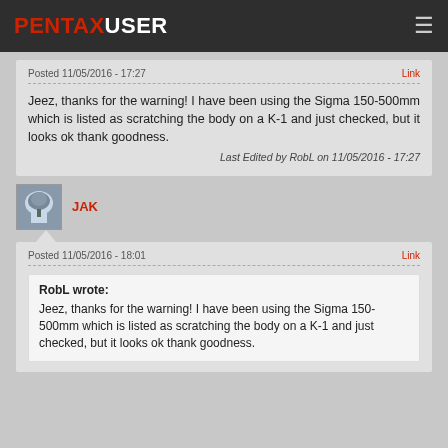PENTAXUSER
Posted 11/05/2016 - 17:27
Link
Jeez, thanks for the warning! I have been using the Sigma 150-500mm which is listed as scratching the body on a K-1 and just checked, but it looks ok thank goodness.
Last Edited by RobL on 11/05/2016 - 17:27
JAK
Posted 11/05/2016 - 18:01
Link
RobL wrote: Jeez, thanks for the warning! I have been using the Sigma 150-500mm which is listed as scratching the body on a K-1 and just checked, but it looks ok thank goodness.